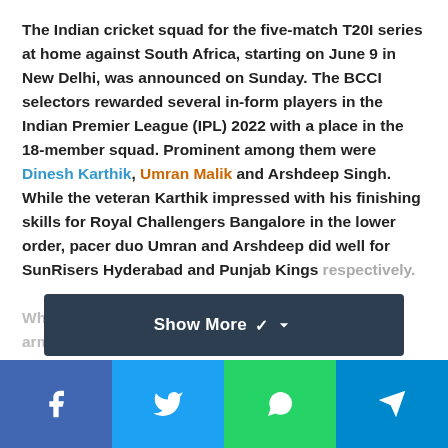The Indian cricket squad for the five-match T20I series at home against South Africa, starting on June 9 in New Delhi, was announced on Sunday. The BCCI selectors rewarded several in-form players in the Indian Premier League (IPL) 2022 with a place in the 18-member squad. Prominent among them were Dinesh Karthik, Umran Malik and Arshdeep Singh. While the veteran Karthik impressed with his finishing skills for Royal Challengers Bangalore in the lower order, pacer duo Umran and Arshdeep did well for SunRisers Hyderabad and Punjab Kings respectively. While Malik has been all about speed with his right-arm